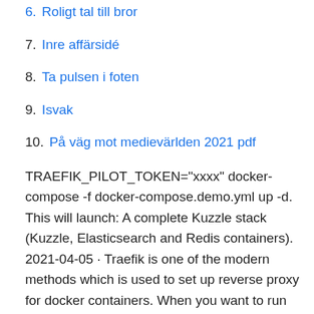6. Roligt tal till bror
7. Inre affärsidé
8. Ta pulsen i foten
9. Isvak
10. På väg mot medievärlden 2021 pdf
TRAEFIK_PILOT_TOKEN="xxxx" docker-compose -f docker-compose.demo.yml up -d. This will launch: A complete Kuzzle stack (Kuzzle, Elasticsearch and Redis containers). 2021-04-05 · Traefik is one of the modern methods which is used to set up reverse proxy for docker containers. When you want to run multiple applications in docker containers exposing port 80 and 443, traefik can be the best option for reverse proxy. Pilot extends the capabilities of